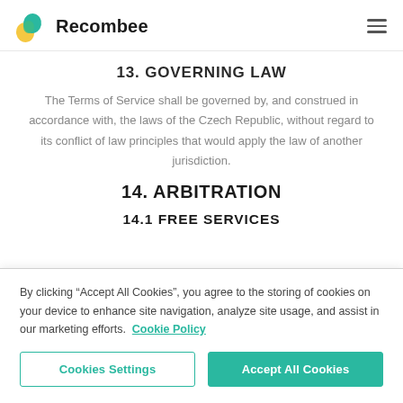Recombee
13. GOVERNING LAW
The Terms of Service shall be governed by, and construed in accordance with, the laws of the Czech Republic, without regard to its conflict of law principles that would apply the law of another jurisdiction.
14. ARBITRATION
14.1 FREE SERVICES
By clicking “Accept All Cookies”, you agree to the storing of cookies on your device to enhance site navigation, analyze site usage, and assist in our marketing efforts. Cookie Policy
Cookies Settings | Accept All Cookies